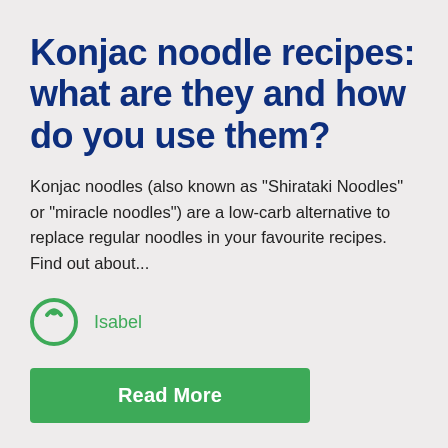Konjac noodle recipes: what are they and how do you use them?
Konjac noodles (also known as "Shirataki Noodles" or "miracle noodles") are a low-carb alternative to replace regular noodles in your favourite recipes. Find out about...
Isabel
Read More